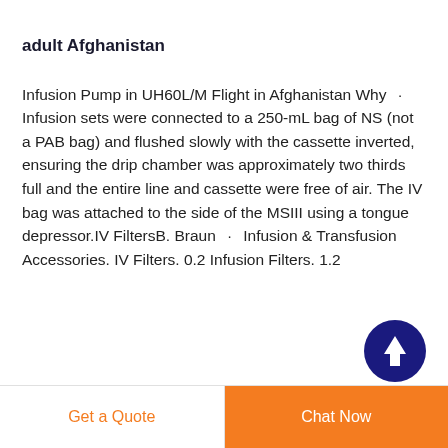adult Afghanistan
Infusion Pump in UH60L/M Flight in Afghanistan Why · Infusion sets were connected to a 250-mL bag of NS (not a PAB bag) and flushed slowly with the cassette inverted, ensuring the drip chamber was approximately two thirds full and the entire line and cassette were free of air. The IV bag was attached to the side of the MSIII using a tongue depressor.IV FiltersB. Braun · Infusion & Transfusion Accessories. IV Filters. 0.2 Infusion Filters. 1.2
[Figure (other): Dark blue circular scroll-to-top button with white upward arrow icon]